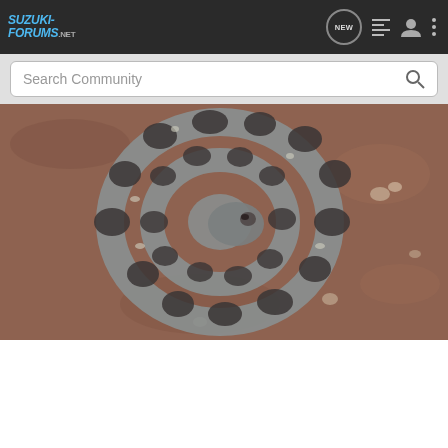SUZUKI-FORUMS.NET navigation bar with logo, NEW button, list icon, user icon, more icon
Search Community
[Figure (photo): A coiled rattlesnake photographed from above on reddish-brown sandy/dirt ground with small pebbles. The snake has a distinctive pattern of dark brown blotches on a gray-brown background.]